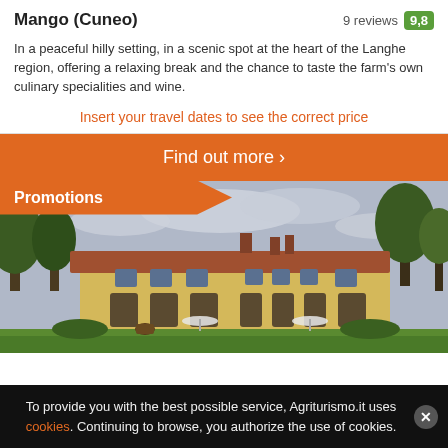Mango (Cuneo)  9 reviews  9,8
In a peaceful hilly setting, in a scenic spot at the heart of the Langhe region, offering a relaxing break and the chance to taste the farm's own culinary specialities and wine.
Insert your travel dates to see the correct price
Find out more >
[Figure (photo): Exterior view of a large yellow Italian farmhouse/agriturismo with terracotta roof, surrounded by trees and a green lawn. Overcast sky. Orange 'Promotions' badge overlaid top-left.]
To provide you with the best possible service, Agriturismo.it uses cookies. Continuing to browse, you authorize the use of cookies.